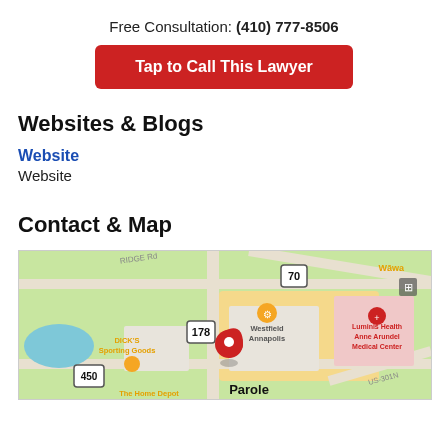Free Consultation: (410) 777-8506
Tap to Call This Lawyer
Websites & Blogs
Website
Website
Contact & Map
[Figure (map): Google Maps view showing Parole area in Annapolis, MD with a red pin marker. Visible landmarks include DICK'S Sporting Goods, Westfield Annapolis, Luminis Health Anne Arundel Medical Center, Wawa, The Home Depot, and road labels including Route 70, Route 178, Route 450, US-301N, and Ridge Road.]